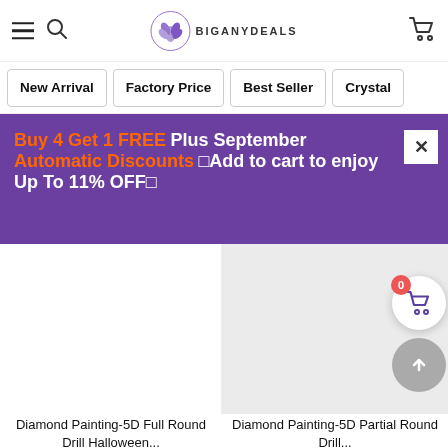BIGANYDEALS — navigation header with hamburger menu, search, logo, and cart
New Arrival
Factory Price
Best Seller
Crystal
Buy 4 Get 1 FREE Plus September Automatic Discounts□Add to cart to enjoy Up To 11% OFF□
[Figure (photo): Diamond Painting product image placeholder (white background)]
[Figure (photo): Diamond Painting product image placeholder (light gray background)]
Diamond Painting-5D Full Round Drill Halloween...
$6.99
Diamond Painting-5D Partial Round Drill...
$5.00